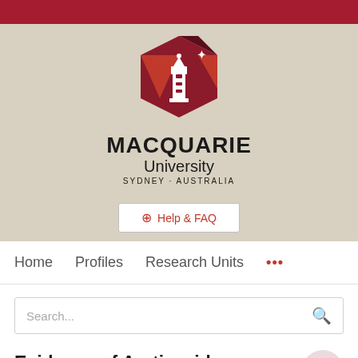[Figure (logo): Macquarie University logo with hexagonal lighthouse emblem above the text MACQUARIE University SYDNEY·AUSTRALIA]
⊕ Help & FAQ
Home   Profiles   Research Units   •••
Search...
Evidence of Arctic-wide atmospheric aerosols from DMSP